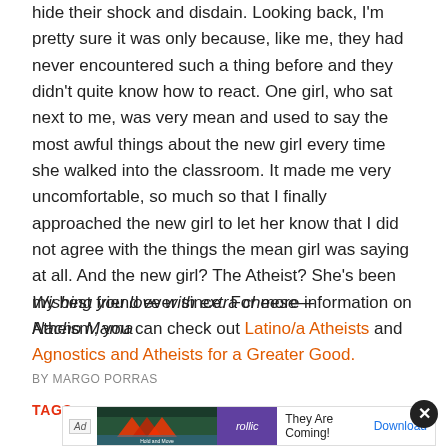hide their shock and disdain. Looking back, I'm pretty sure it was only because, like me, they had never encountered such a thing before and they didn't quite know how to react. One girl, who sat next to me, was very mean and used to say the most awful things about the new girl every time she walked into the classroom. It made me very uncomfortable, so much so that I finally approached the new girl to let her know that I did not agree with the things the mean girl was saying at all. And the new girl? The Atheist? She's been my best friend ever since. For more information on Atheism, you can check out Latino/a Atheists and Agnostics and Atheists for a Greater Good.
Wishing you love with extra cheese—
Nacho Mama
BY MARGO PORRAS
TAGS
[Figure (screenshot): Ad overlay showing 'They Are Coming!' game advertisement with Follic logo and a Download button, with a close (X) button]